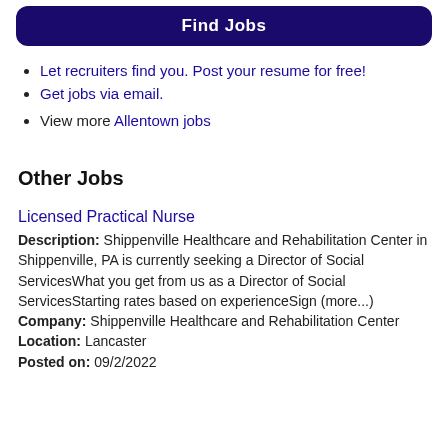Find Jobs
Let recruiters find you. Post your resume for free!
Get jobs via email.
View more Allentown jobs
Other Jobs
Licensed Practical Nurse
Description: Shippenville Healthcare and Rehabilitation Center in Shippenville, PA is currently seeking a Director of Social ServicesWhat you get from us as a Director of Social ServicesStarting rates based on experienceSign (more...)
Company: Shippenville Healthcare and Rehabilitation Center
Location: Lancaster
Posted on: 09/2/2022